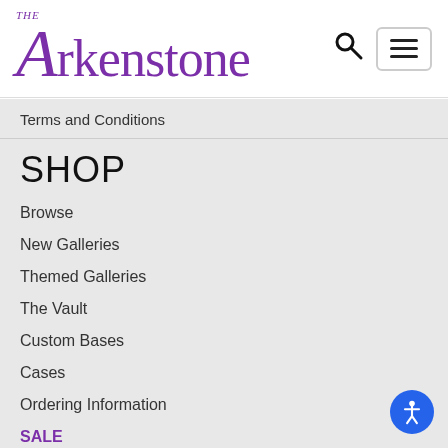[Figure (logo): The Arkenstone logo in purple serif font]
Terms and Conditions
SHOP
Browse
New Galleries
Themed Galleries
The Vault
Custom Bases
Cases
Ordering Information
SALE
CONTACT US
PO Box 830460